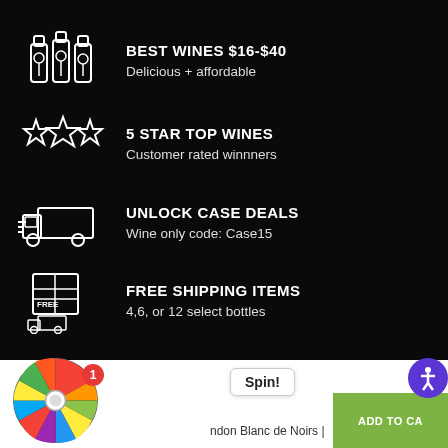BEST WINES $16-$40 — Delicious + affordable
5 STAR TOP WINES — Customer rated winnners
UNLOCK CASE DEALS — Wine only code: Case15
FREE SHIPPING ITEMS — 4,6, or 12 select bottles
Spin!
ndon Blanc de Noirs |
$32.97
$28.97
ADD TO CA